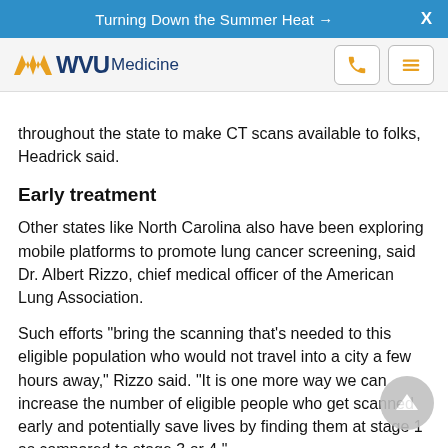Turning Down the Summer Heat →   X
[Figure (logo): WVU Medicine logo with golden flying WV mark, dark blue WVU text and lighter blue Medicine text, nav bar with phone and menu icons]
throughout the state to make CT scans available to folks, Headrick said.
Early treatment
Other states like North Carolina also have been exploring mobile platforms to promote lung cancer screening, said Dr. Albert Rizzo, chief medical officer of the American Lung Association.
Such efforts "bring the scanning that's needed to this eligible population who would not travel into a city a few hours away," Rizzo said. "It is one more way we can increase the number of eligible people who get scanned early and potentially save lives by finding them at stage 1 as compared to stage 3 or 4."
The U.S. Preventive Services Task Force last week recommended changes to lung screening guidelines that